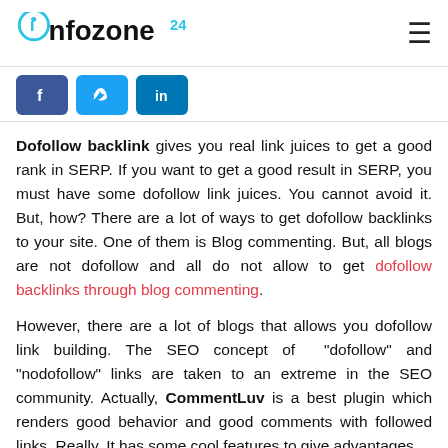infozone24 [logo]
[Figure (other): Social share buttons: Facebook, Twitter, LinkedIn]
Dofollow backlink gives you real link juices to get a good rank in SERP. If you want to get a good result in SERP, you must have some dofollow link juices. You cannot avoid it. But, how? There are a lot of ways to get dofollow backlinks to your site. One of them is Blog commenting. But, all blogs are not dofollow and all do not allow to get dofollow backlinks through blog commenting.
However, there are a lot of blogs that allows you dofollow link building. The SEO concept of "dofollow" and "nodofollow" links are taken to an extreme in the SEO community. Actually, CommentLuv is a best plugin which renders good behavior and good comments with followed links. Really, It has some cool features to give advantages